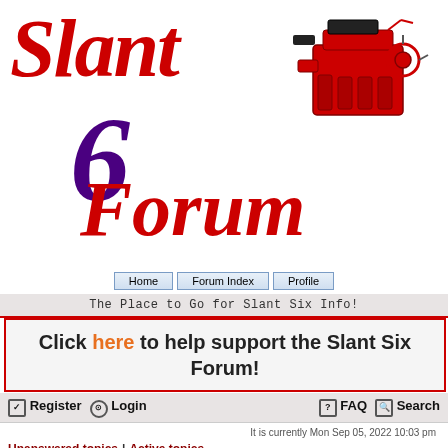[Figure (logo): Slant Six Forum logo with red cursive 'Slant' text, dark purple large '6', red cursive 'Forum' text, and a red engine illustration on the right side]
Home | Forum Index | Profile
The Place to Go for Slant Six Info!
Click here to help support the Slant Six Forum!
Register  Login  FAQ  Search
It is currently Mon Sep 05, 2022 10:03 pm
Unanswered topics | Active topics